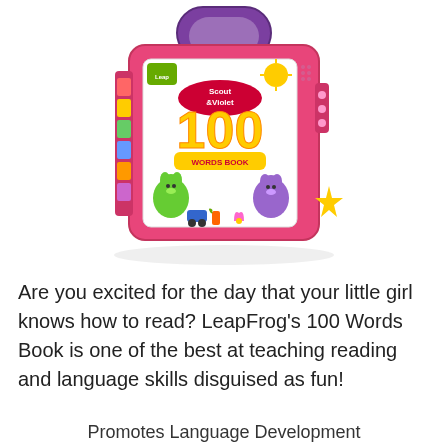[Figure (photo): A pink LeapFrog Scout & Violet 100 Words Book toy with purple handle, colorful pages on the spine, and cartoon animal characters on the cover showing the number 100 prominently.]
Are you excited for the day that your little girl knows how to read? LeapFrog's 100 Words Book is one of the best at teaching reading and language skills disguised as fun!
Promotes Language Development